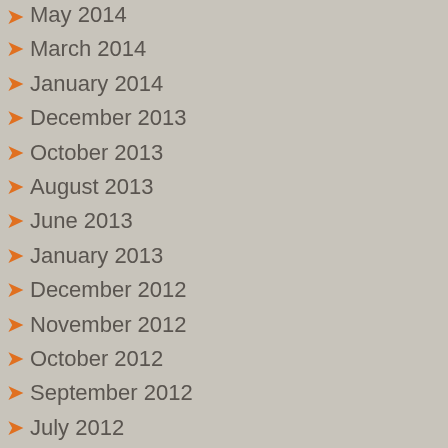May 2014
March 2014
January 2014
December 2013
October 2013
August 2013
June 2013
January 2013
December 2012
November 2012
October 2012
September 2012
July 2012
June 2012
May 2012
February 2012